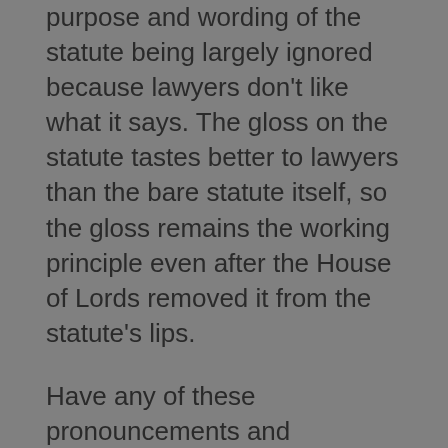purpose and wording of the statute being largely ignored because lawyers don't like what it says. The gloss on the statute tastes better to lawyers than the bare statute itself, so the gloss remains the working principle even after the House of Lords removed it from the statute's lips.
Have any of these pronouncements and refinements worked better than judges simply being told 'apply the statutory test, apply the welfare checklist, remember the no order principle and that the child's welfare is paramount' would have?
If we are to believe the narrative arc of precedents being sculptors who are improving and enhancing the law, then one would have to assume that parents who were coming before the Courts in 1991 were getting worse treatment than they are today, before the High Court and Court of Appeal had come to the rescue with all of the guidance